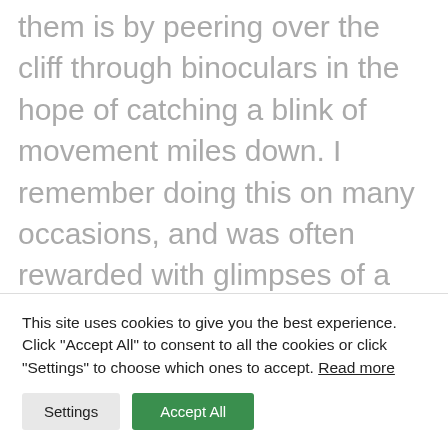them is by peering over the cliff through binoculars in the hope of catching a blink of movement miles down. I remember doing this on many occasions, and was often rewarded with glimpses of a cluster of these remarkable animals in the most hair-raising of places.

More common, and most memorable of all is the Gelada Baboon, also known as the bleeding-heart monkey due to the distinctive red bald patch on its chest. and the lion monkey due to
This site uses cookies to give you the best experience. Click "Accept All" to consent to all the cookies or click "Settings" to choose which ones to accept. Read more
Settings | Accept All